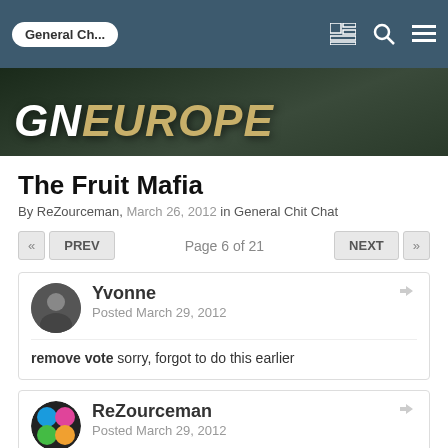General Ch...
[Figure (screenshot): GN Europe website banner with dark green background and golden italic bold text reading GN EUROPE]
The Fruit Mafia
By ReZourceman, March 26, 2012 in General Chit Chat
« PREV  Page 6 of 21  NEXT »
Yvonne
Posted March 29, 2012
remove vote sorry, forgot to do this earlier
ReZourceman
Posted March 29, 2012